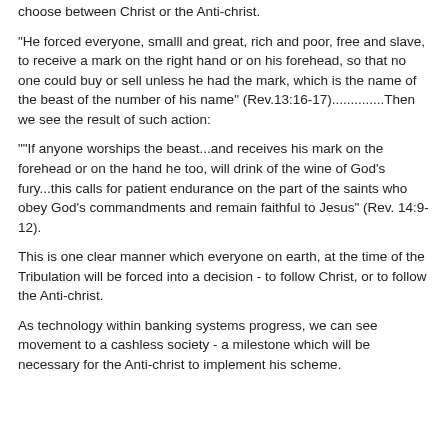choose between Christ or the Anti-christ.
"He forced everyone, smalll and great, rich and poor, free and slave, to receive a mark on the right hand or on his forehead, so that no one could buy or sell unless he had the mark, which is the name of the beast of the number of his name" (Rev.13:16-17)..............Then we see the result of such action:
""If anyone worships the beast...and receives his mark on the forehead or on the hand he too, will drink of the wine of God's fury...this calls for patient endurance on the part of the saints who obey God's commandments and remain faithful to Jesus" (Rev. 14:9-12).
This is one clear manner which everyone on earth, at the time of the Tribulation will be forced into a decision - to follow Christ, or to follow the Anti-christ.
As technology within banking systems progress, we can see movement to a cashless society - a milestone which will be necessary for the Anti-christ to implement his scheme.